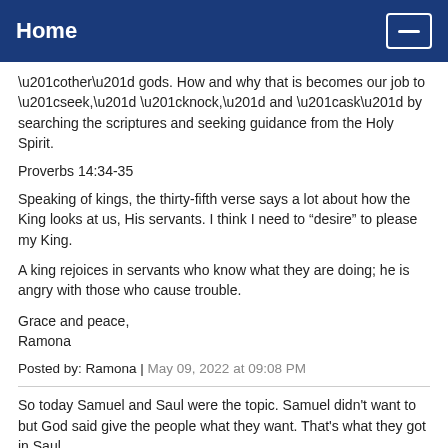Home
“other” gods. How and why that is becomes our job to “seek,” “knock,” and “ask” by searching the scriptures and seeking guidance from the Holy Spirit.
Proverbs 14:34-35
Speaking of kings, the thirty-fifth verse says a lot about how the King looks at us, His servants. I think I need to “desire” to please my King.
A king rejoices in servants who know what they are doing; he is angry with those who cause trouble.
Grace and peace,
Ramona
Posted by: Ramona | May 09, 2022 at 09:08 PM
So today Samuel and Saul were the topic. Samuel didn’t want to but God said give the people what they want. That's what they got in Saul,